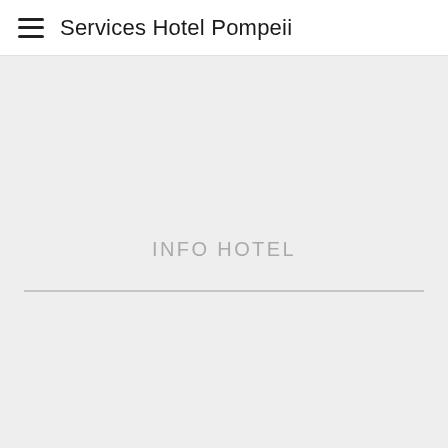Services Hotel Pompeii
INFO HOTEL